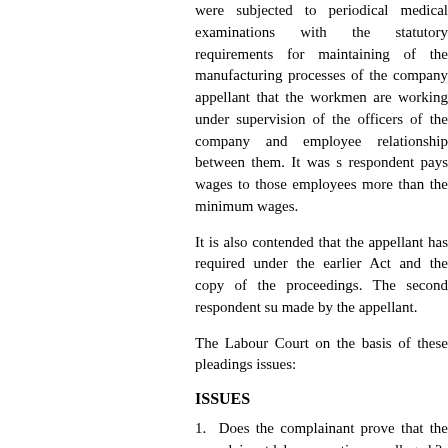were subjected to periodical medical examinations with the statutory requirements for maintaining of the manufacturing processes of the company appellant that the workmen are working under supervision of the officers of the company and employee relationship between them. It was s respondent pays wages to those employees more than the minimum wages.
It is also contended that the appellant has required under the earlier Act and the copy of the proceedings. The second respondent su made by the appellant.
The Labour Court on the basis of these pleadings issues:
ISSUES
1.  Does the complainant prove that the complainant labour practices as alleged ?
2.  ----------deleted----------
3. Does he prove that he is entitled the relief as
4.  What order ?
ADDITIONAL ISSUES
3A. Whether the complaint is maintainable?